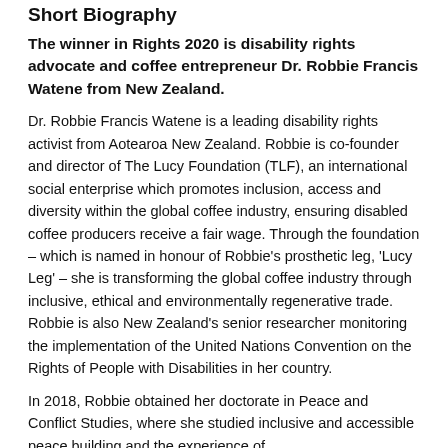Short Biography
The winner in Rights 2020 is disability rights advocate and coffee entrepreneur Dr. Robbie Francis Watene from New Zealand.
Dr. Robbie Francis Watene is a leading disability rights activist from Aotearoa New Zealand. Robbie is co-founder and director of The Lucy Foundation (TLF), an international social enterprise which promotes inclusion, access and diversity within the global coffee industry, ensuring disabled coffee producers receive a fair wage. Through the foundation – which is named in honour of Robbie's prosthetic leg, 'Lucy Leg' – she is transforming the global coffee industry through inclusive, ethical and environmentally regenerative trade. Robbie is also New Zealand's senior researcher monitoring the implementation of the United Nations Convention on the Rights of People with Disabilities in her country.
In 2018, Robbie obtained her doctorate in Peace and Conflict Studies, where she studied inclusive and accessible peace building and the experience of